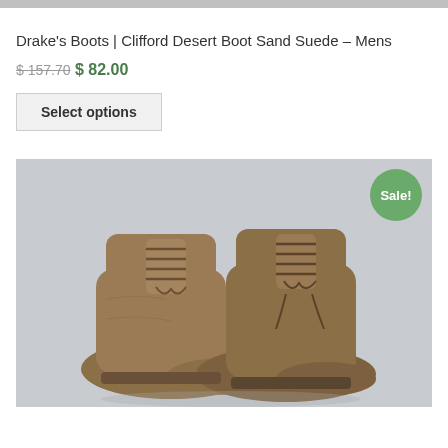[Figure (photo): Gray banner bar at the top of the page]
Drake's Boots | Clifford Desert Boot Sand Suede – Mens
$ 157.70 $ 82.00
Select options
[Figure (photo): Product photo of Drake's Boots Clifford Desert Boot in Sand Suede on a gray background, with a green 'Sale!' badge in the top right corner. Two tan suede chukka boots with laces are shown from a top-angle view.]